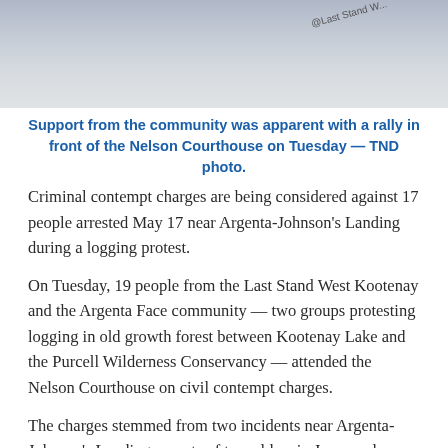[Figure (photo): Photo of a flag or banner near stonework, with a watermark reading '@Last Stand...' in the upper area]
Support from the community was apparent with a rally in front of the Nelson Courthouse on Tuesday — TND photo.
Criminal contempt charges are being considered against 17 people arrested May 17 near Argenta-Johnson's Landing during a logging protest.
On Tuesday, 19 people from the Last Stand West Kootenay and the Argenta Face community — two groups protesting logging in old growth forest between Kootenay Lake and the Purcell Wilderness Conservancy — attended the Nelson Courthouse on civil contempt charges.
The charges stemmed from two incidents near Argenta-Johnson's Landing: arrests of two elders in June; and a mass arrest that happened May 17.
Read more